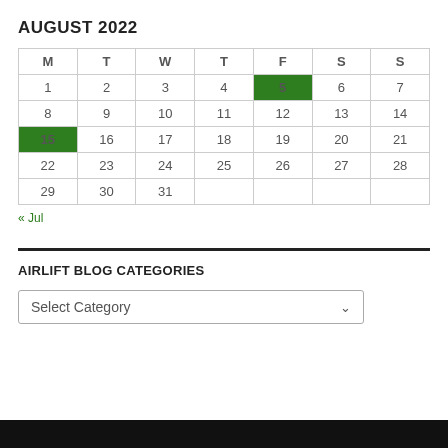AUGUST 2022
| M | T | W | T | F | S | S |
| --- | --- | --- | --- | --- | --- | --- |
| 1 | 2 | 3 | 4 | 5 [highlighted] | 6 | 7 |
| 8 | 9 | 10 | 11 | 12 | 13 | 14 |
| 15 [highlighted] | 16 | 17 | 18 | 19 | 20 | 21 |
| 22 | 23 | 24 | 25 | 26 | 27 | 28 |
| 29 | 30 | 31 |  |  |  |  |
« Jul
AIRLIFT BLOG CATEGORIES
Select Category